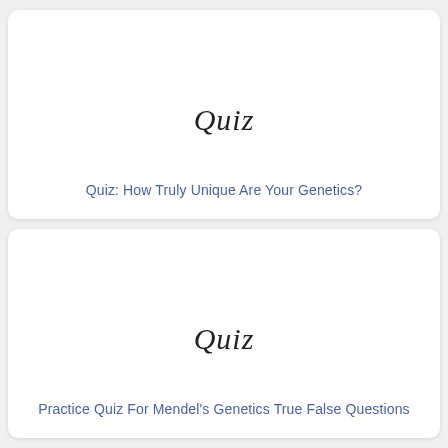[Figure (illustration): Card with handwritten-style 'Quiz' text centered]
Quiz: How Truly Unique Are Your Genetics?
[Figure (illustration): Card with handwritten-style 'Quiz' text centered]
Practice Quiz For Mendel's Genetics True False Questions